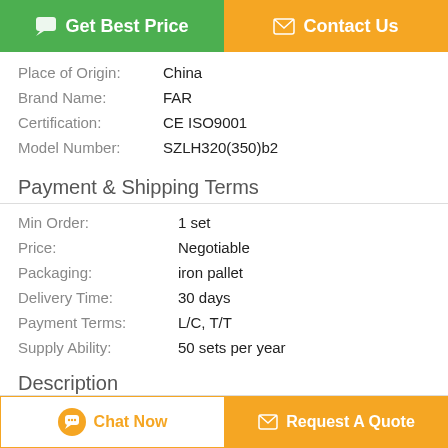[Figure (other): Green 'Get Best Price' button and orange 'Contact Us' button at top]
| Place of Origin: | China |
| Brand Name: | FAR |
| Certification: | CE ISO9001 |
| Model Number: | SZLH320(350)b2 |
Payment & Shipping Terms
| Min Order: | 1 set |
| Price: | Negotiable |
| Packaging: | iron pallet |
| Delivery Time: | 30 days |
| Payment Terms: | L/C, T/T |
| Supply Ability: | 50 sets per year |
Description
[Figure (other): Orange 'Chat Now' button and orange 'Request A Quote' button at bottom]